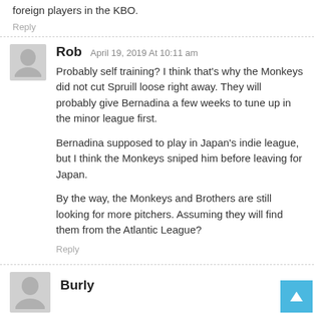foreign players in the KBO.
Reply
Rob April 19, 2019 At 10:11 am
Probably self training? I think that's why the Monkeys did not cut Spruill loose right away. They will probably give Bernadina a few weeks to tune up in the minor league first.
Bernadina supposed to play in Japan's indie league, but I think the Monkeys sniped him before leaving for Japan.
By the way, the Monkeys and Brothers are still looking for more pitchers. Assuming they will find them from the Atlantic League?
Reply
Burly